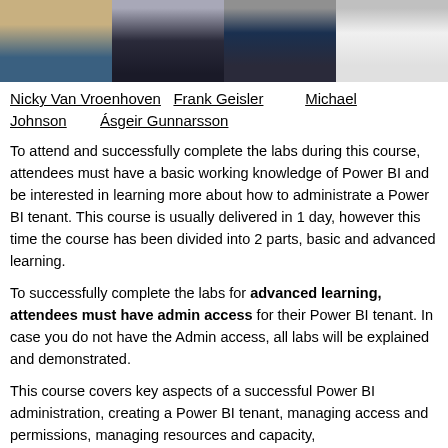[Figure (photo): Four headshot photos of instructors in a row: Nicky Van Vroenhoven, Frank Geisler, Ásgeir Gunnarsson, Michael Johnson]
Nicky Van Vroenhoven   Frank Geisler   Michael Johnson   Ásgeir Gunnarsson
To attend and successfully complete the labs during this course, attendees must have a basic working knowledge of Power BI and be interested in learning more about how to administrate a Power BI tenant. This course is usually delivered in 1 day, however this time the course has been divided into 2 parts, basic and advanced learning.
To successfully complete the labs for advanced learning, attendees must have admin access for their Power BI tenant. In case you do not have the Admin access, all labs will be explained and demonstrated.
This course covers key aspects of a successful Power BI administration, creating a Power BI tenant, managing access and permissions, managing resources and capacity,